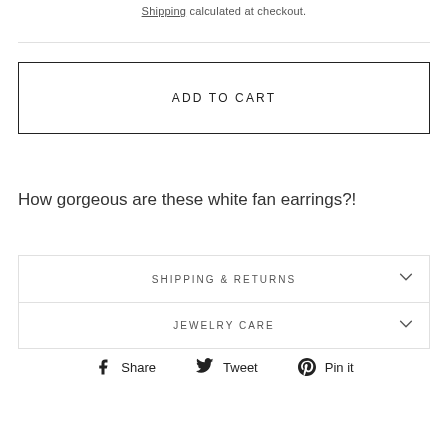Shipping calculated at checkout.
ADD TO CART
How gorgeous are these white fan earrings?!
SHIPPING & RETURNS
JEWELRY CARE
Share  Tweet  Pin it